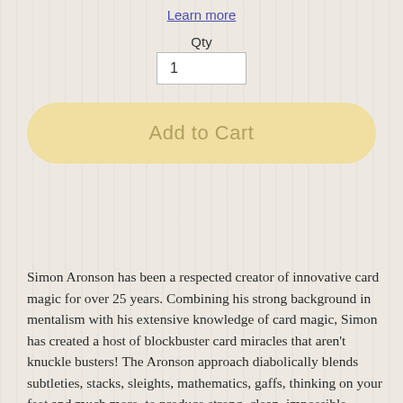Learn more
Qty
1
Add to Cart
Simon Aronson has been a respected creator of innovative card magic for over 25 years. Combining his strong background in mentalism with his extensive knowledge of card magic, Simon has created a host of blockbuster card miracles that aren't knuckle busters! The Aronson approach diabolically blends subtleties, stacks, sleights, mathematics, gaffs, thinking on your feet and much more, to produce strong, clean, impossible looking "hands off" magic that leaves your spectators